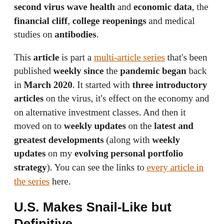second virus wave health and economic data, the financial cliff, college reopenings and medical studies on antibodies.
This article is part a multi-article series that's been published weekly since the pandemic began back in March 2020. It started with three introductory articles on the virus, it's effect on the economy and on alternative investment classes. And then it moved on to weekly updates on the latest and greatest developments (along with weekly updates on my evolving personal portfolio strategy). You can see the links to every article in the series here.
U.S. Makes Snail-Like but Definitive